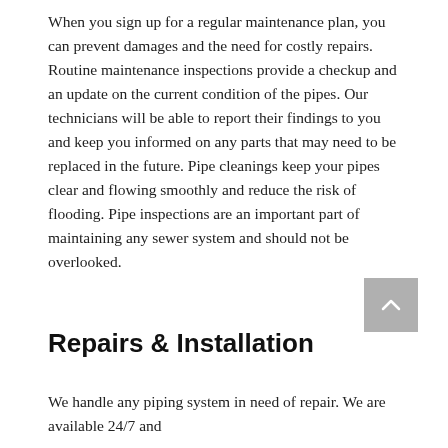When you sign up for a regular maintenance plan, you can prevent damages and the need for costly repairs. Routine maintenance inspections provide a checkup and an update on the current condition of the pipes. Our technicians will be able to report their findings to you and keep you informed on any parts that may need to be replaced in the future. Pipe cleanings keep your pipes clear and flowing smoothly and reduce the risk of flooding. Pipe inspections are an important part of maintaining any sewer system and should not be overlooked.
Repairs & Installation
We handle any piping system in need of repair. We are available 24/7 and